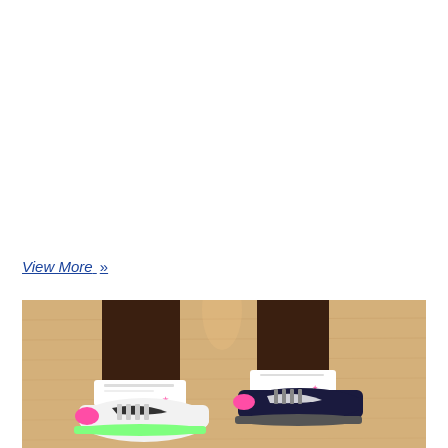View More »
[Figure (photo): Close-up photo of a basketball player's legs and feet on a hardwood court, wearing mismatched Nike sneakers — one white shoe with pink and green accents on the left foot, and one dark navy/black shoe with pink accents on the right foot, both with white socks.]